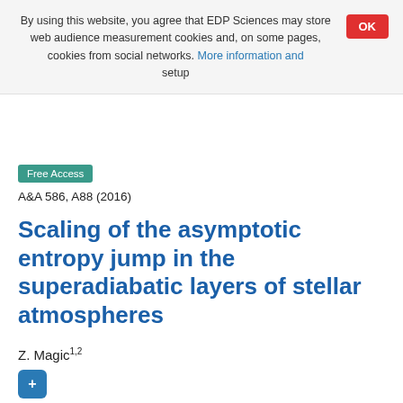By using this website, you agree that EDP Sciences may store web audience measurement cookies and, on some pages, cookies from social networks. More information and setup
Free Access
A&A 586, A88 (2016)
Scaling of the asymptotic entropy jump in the superadiabatic layers of stellar atmospheres
Z. Magic1,2
Received: 23 September 2015
Accepted: 3 December 2015
Abstract